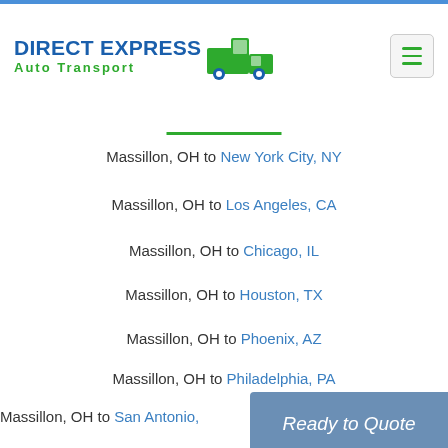DIRECT EXPRESS Auto Transport
Massillon, OH to New York City, NY
Massillon, OH to Los Angeles, CA
Massillon, OH to Chicago, IL
Massillon, OH to Houston, TX
Massillon, OH to Phoenix, AZ
Massillon, OH to Philadelphia, PA
Massillon, OH to San Antonio,
Massillon, OH to San Diego, CA
Ready to Quote